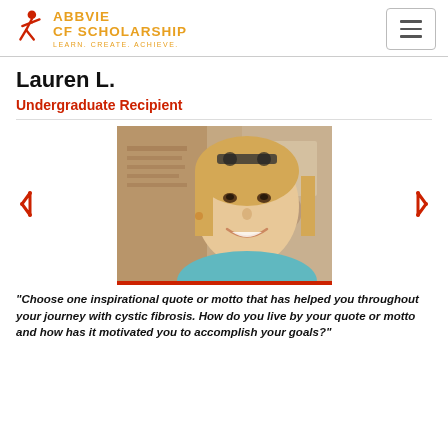AbbVie CF Scholarship — Learn. Create. Achieve.
Lauren L.
Undergraduate Recipient
[Figure (photo): Portrait photo of Lauren L., a young woman with long blonde hair and sunglasses on her head, smiling outdoors.]
"Choose one inspirational quote or motto that has helped you throughout your journey with cystic fibrosis. How do you live by your quote or motto and how has it motivated you to accomplish your goals?"